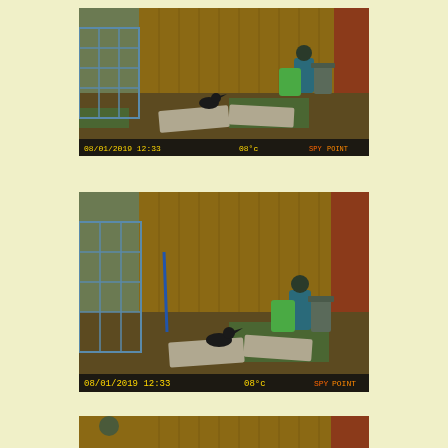[Figure (photo): Trail camera footage dated 08/01/2019 12:33, showing a backyard with a wooden fence, metal gate structure on the left, a crow/raven on the ground, flat stone slabs, and what appears to be a person or object near a trash can in the upper right area.]
[Figure (photo): Second trail camera footage dated 08/01/2019 12:33, similar scene showing backyard with wooden fence, metal gate, crow/raven on ground near flat stone slabs, and person/object near trash can.]
[Figure (photo): Third trail camera footage, partially visible at bottom of page, showing same backyard scene with wooden fence and similar elements.]